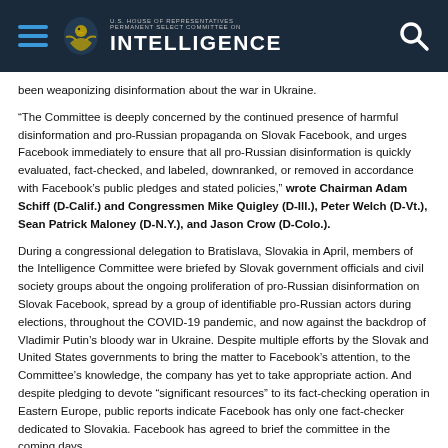U.S. House of Representatives Permanent Select Committee on Intelligence
been weaponizing disinformation about the war in Ukraine.
“The Committee is deeply concerned by the continued presence of harmful disinformation and pro-Russian propaganda on Slovak Facebook, and urges Facebook immediately to ensure that all pro-Russian disinformation is quickly evaluated, fact-checked, and labeled, downranked, or removed in accordance with Facebook’s public pledges and stated policies,” wrote Chairman Adam Schiff (D-Calif.) and Congressmen Mike Quigley (D-Ill.), Peter Welch (D-Vt.), Sean Patrick Maloney (D-N.Y.), and Jason Crow (D-Colo.).
During a congressional delegation to Bratislava, Slovakia in April, members of the Intelligence Committee were briefed by Slovak government officials and civil society groups about the ongoing proliferation of pro-Russian disinformation on Slovak Facebook, spread by a group of identifiable pro-Russian actors during elections, throughout the COVID-19 pandemic, and now against the backdrop of Vladimir Putin’s bloody war in Ukraine. Despite multiple efforts by the Slovak and United States governments to bring the matter to Facebook’s attention, to the Committee’s knowledge, the company has yet to take appropriate action. And despite pledging to devote “significant resources” to its fact-checking operation in Eastern Europe, public reports indicate Facebook has only one fact-checker dedicated to Slovakia. Facebook has agreed to brief the committee in the coming days.